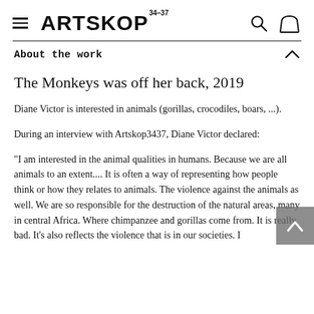ARTSKOP 34-37
About the work
The Monkeys was off her back, 2019
Diane Victor is interested in animals (gorillas, crocodiles, boars, ...).
During an interview with Artskop3437, Diane Victor declared:
"I am interested in the animal qualities in humans. Because we are all animals to an extent.... It is often a way of representing how people think or how they relates to animals. The violence against the animals as well. We are so responsible for the destruction of the natural areas, many in central Africa. Where chimpanzee and gorillas come from. It is really bad. It's also reflects the violence that is in our societies. I